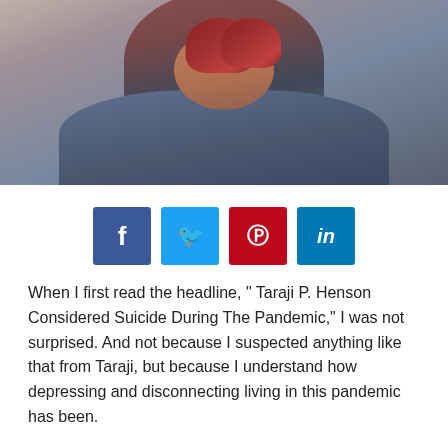[Figure (photo): Photo of a person with red/burgundy hair wearing a denim jacket, smiling, photographed from mid-torso up]
[Figure (infographic): Row of four social media share buttons: Facebook (blue), Twitter (light blue), Pinterest (red), LinkedIn (dark blue)]
When I first read the headline, “ Taraji P. Henson Considered Suicide During The Pandemic,” I was not surprised. And not because I suspected anything like that from Taraji, but because I understand how depressing and disconnecting living in this pandemic has been.
Taraji said on her Facebook Watch show, “I was in a dark place. I couldn’t get out of the bed. I didn’t care…  Then I started having thoughts of ending it. It happened two nights in a row. And I purchased a gun not too long ago and it’s in a